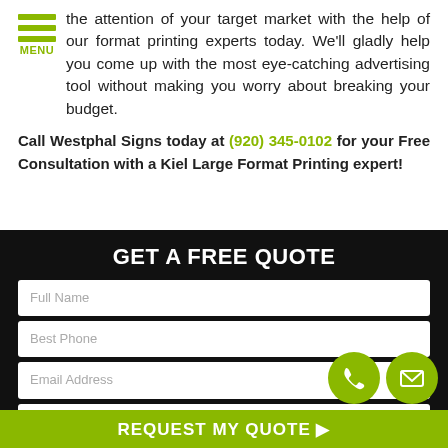the attention of your target market with the help of our format printing experts today. We’ll gladly help you come up with the most eye-catching advertising tool without making you worry about breaking your budget.
Call Westphal Signs today at (920) 345-0102 for your Free Consultation with a Kiel Large Format Printing expert!
GET A FREE QUOTE
Full Name
Best Phone
Email Address
What type and size of signage do you need?
REQUEST MY QUOTE